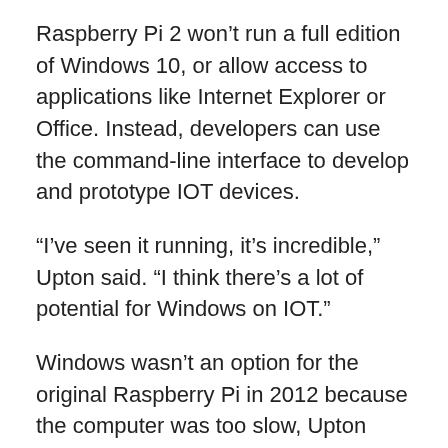Raspberry Pi 2 won't run a full edition of Windows 10, or allow access to applications like Internet Explorer or Office. Instead, developers can use the command-line interface to develop and prototype IOT devices.
“I’ve seen it running, it’s incredible,” Upton said. “I think there’s a lot of potential for Windows on IOT.”
Windows wasn’t an option for the original Raspberry Pi in 2012 because the computer was too slow, Upton said.
The speed boost made it feasible to put Windows on Raspberry Pi 2, and Microsoft quickly whipped up a version of Windows 10 for the device, Upton said.